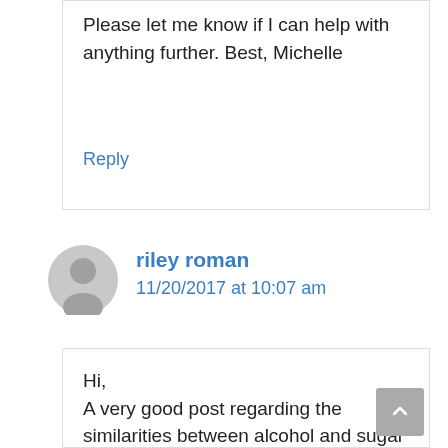Please let me know if I can help with anything further. Best, Michelle
Reply
riley roman
11/20/2017 at 10:07 am
Hi,
A very good post regarding the similarities between alcohol and sugar addiction. I definitely have a problem with sugar, even though I struggle to give it up on a daily basis